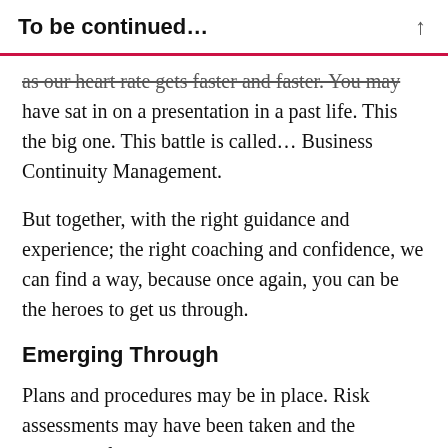To be continued…
as our heart rate gets faster and faster. You may have sat in on a presentation in a past life. This the big one. This battle is called… Business Continuity Management.
But together, with the right guidance and experience; the right coaching and confidence, we can find a way, because once again, you can be the heroes to get us through.
Emerging Through
Plans and procedures may be in place. Risk assessments may have been taken and the business, if they are a good-hearted culture, will